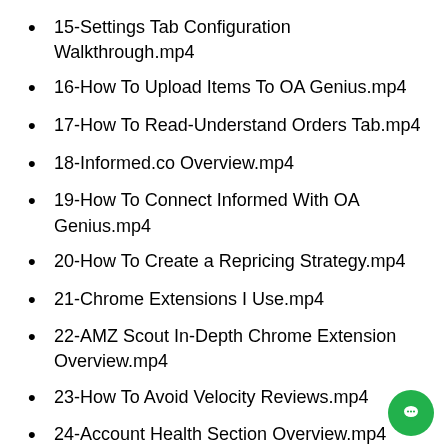15-Settings Tab Configuration Walkthrough.mp4
16-How To Upload Items To OA Genius.mp4
17-How To Read-Understand Orders Tab.mp4
18-Informed.co Overview.mp4
19-How To Connect Informed With OA Genius.mp4
20-How To Create a Repricing Strategy.mp4
21-Chrome Extensions I Use.mp4
22-AMZ Scout In-Depth Chrome Extension Overview.mp4
23-How To Avoid Velocity Reviews.mp4
24-Account Health Section Overview.mp4